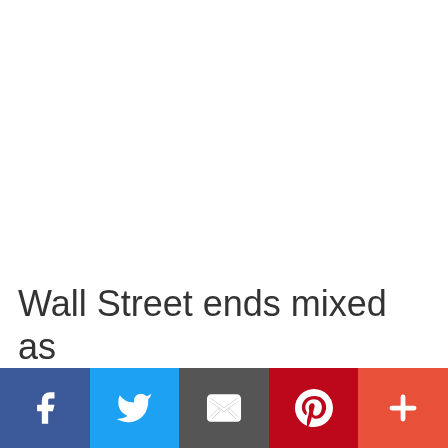Wall Street ends mixed as
[Figure (infographic): Social media share bar with Facebook, Twitter, Email, Pinterest, and More buttons at the bottom of the page]